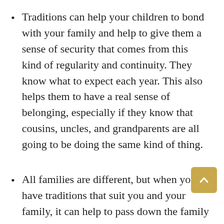Traditions can help your children to bond with your family and help to give them a sense of security that comes from this kind of regularity and continuity. They know what to expect each year. This also helps them to have a real sense of belonging, especially if they know that cousins, uncles, and grandparents are all going to be doing the same kind of thing.
All families are different, but when you have traditions that suit you and your family, it can help to pass down the family values that you hold close. This could be something religious or cultural, and will help children as they get